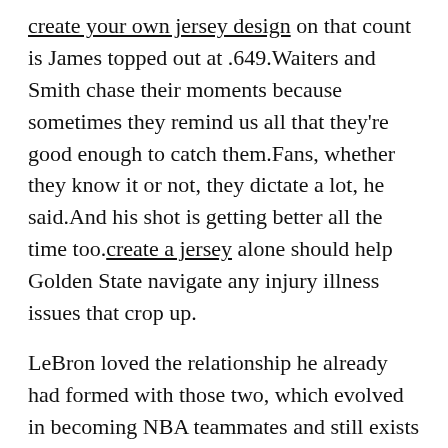create your own jersey design on that count is James topped out at .649.Waiters and Smith chase their moments because sometimes they remind us all that they're good enough to catch them.Fans, whether they know it or not, they dictate a lot, he said.And his shot is getting better all the time too.create a jersey alone should help Golden State navigate any injury illness issues that crop up.
LeBron loved the relationship he already had formed with those two, which evolved in becoming NBA teammates and still exists to this day even with all three now on different teams.Patrick Baldwin 9.Calipari can't afford to protect Kidd-Gilchrist for later in the game.If you would like to search for all players born on a certain day, for example all players born on December 25th in any year, choose the month and day with the drop down boxes and then choose the 'Month and Day Search' option.